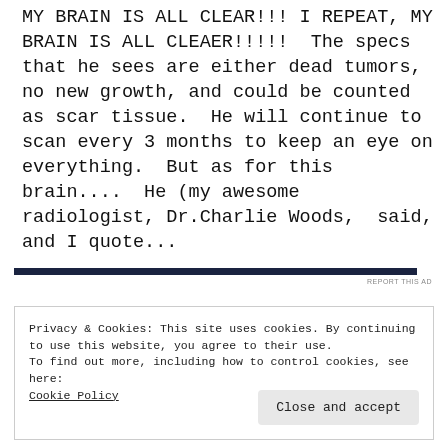MY BRAIN IS ALL CLEAR!!! I REPEAT, MY BRAIN IS ALL CLEAER!!!!!  The specs that he sees are either dead tumors, no new growth, and could be counted as scar tissue.  He will continue to scan every 3 months to keep an eye on everything.  But as for this brain....  He (my awesome radiologist, Dr.Charlie Woods,  said, and I quote...
[Figure (other): Dark horizontal bar (ad separator) with 'REPORT THIS AD' text in small caps to the right]
Privacy & Cookies: This site uses cookies. By continuing to use this website, you agree to their use.
To find out more, including how to control cookies, see here:
Cookie Policy